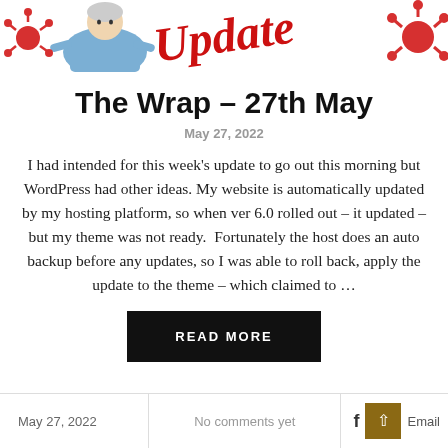[Figure (illustration): Blog header illustration showing a person in blue clothing on the left, red 'Update' text in the center, and red virus/molecule icons on the right]
The Wrap – 27th May
May 27, 2022
I had intended for this week's update to go out this morning but WordPress had other ideas. My website is automatically updated by my hosting platform, so when ver 6.0 rolled out – it updated – but my theme was not ready.  Fortunately the host does an auto backup before any updates, so I was able to roll back, apply the update to the theme – which claimed to …
READ MORE
May 27, 2022   No comments yet   Email